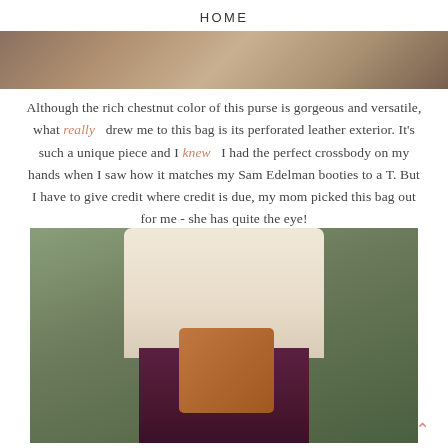HOME
[Figure (photo): Top portion of a fashion blog photo showing a brick background]
Although the rich chestnut color of this purse is gorgeous and versatile, what really drew me to this bag is its perforated leather exterior. It's such a unique piece and I knew I had the perfect crossbody on my hands when I saw how it matches my Sam Edelman booties to a T. But I have to give credit where credit is due, my mom picked this bag out for me - she has quite the eye!
[Figure (photo): Fashion blog photo of a woman in a cream top and burgundy pants holding a tan perforated leather crossbody bag, photographed outdoors]